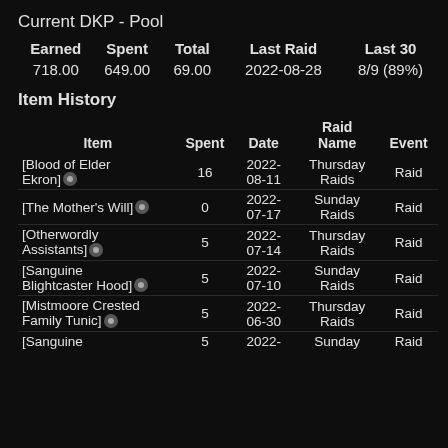Current DKP - Pool
| Earned | Spent | Total | Last Raid | Last 30 |
| --- | --- | --- | --- | --- |
| 718.00 | 649.00 | 69.00 | 2022-08-28 | 8/9 (89%) |
Item History
| Item | Spent | Date | Raid Name | Event |
| --- | --- | --- | --- | --- |
| [Blood of Elder Ekron] | 16 | 2022-08-11 | Thursday Raids | Raid |
| [The Mother's Will] | 0 | 2022-07-17 | Sunday Raids | Raid |
| [Otherwordly Assistants] | 5 | 2022-07-14 | Thursday Raids | Raid |
| [Sanguine Blightcaster Hood] | 5 | 2022-07-10 | Sunday Raids | Raid |
| [Mistmoore Crested Family Tunic] | 5 | 2022-06-30 | Thursday Raids | Raid |
| [Sanguine | 5 | 2022- | Sunday | Raid |